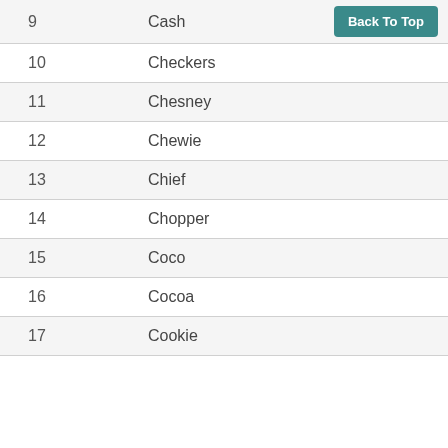| # | Name |  |
| --- | --- | --- |
| 9 | Cash | Back To Top |
| 10 | Checkers |  |
| 11 | Chesney |  |
| 12 | Chewie |  |
| 13 | Chief |  |
| 14 | Chopper |  |
| 15 | Coco |  |
| 16 | Cocoa |  |
| 17 | Cookie |  |